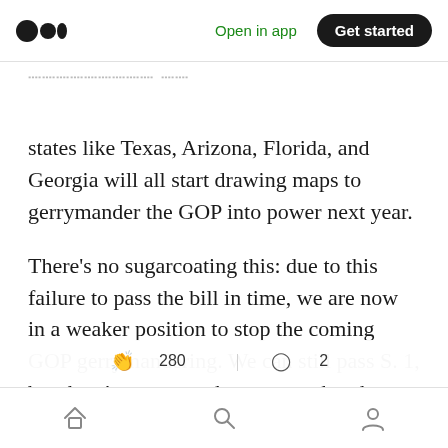Medium app header — Open in app | Get started
states like Texas, Arizona, Florida, and Georgia will all start drawing maps to gerrymander the GOP into power next year.
There's no sugarcoating this: due to this failure to pass the bill in time, we are now in a weaker position to stop the coming GOP gerrymandering. We can still pass S. 1, but there's a greater chance now that the courts will uphold some or all of the GOP gerrymandered maps in 2022. Th[...] hard consequences of [the legislative] delay.
280 claps | 2 comments | Home | Search | Profile